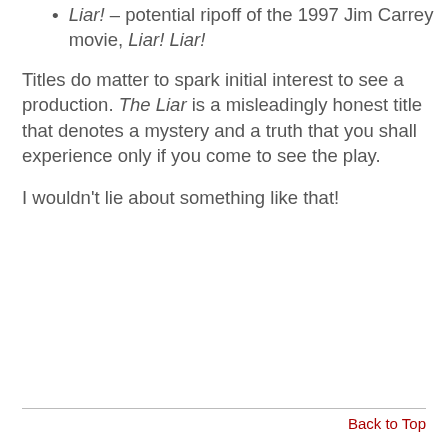Liar! – potential ripoff of the 1997 Jim Carrey movie, Liar! Liar!
Titles do matter to spark initial interest to see a production. The Liar is a misleadingly honest title that denotes a mystery and a truth that you shall experience only if you come to see the play.
I wouldn't lie about something like that!
Back to Top